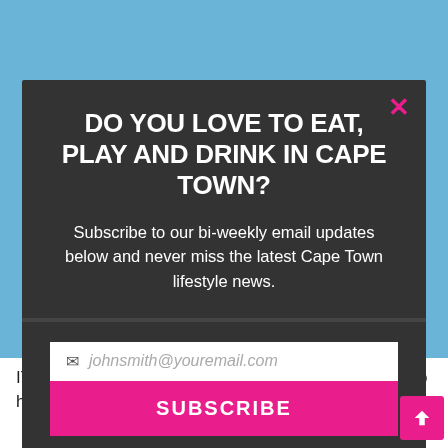[Figure (screenshot): Blue sky background behind modal popup]
DO YOU LOVE TO EAT, PLAY AND DRINK IN CAPE TOWN?
Subscribe to our bi-weekly email updates below and never miss the latest Cape Town lifestyle news.
[Figure (screenshot): Email input field with placeholder johnsmith@youremail.com and a pink SUBSCRIBE button]
This site is protected by reCAPTCHA and the Google Privacy Policy and Terms of Service apply.
IT was a legit road trip for PR star Yolandi de Wet, who had the brilliant idea to take four
Never see this message again.